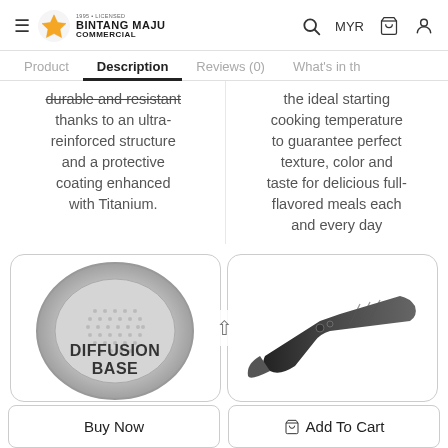Bintang Maju Commercial — navigation header with logo, search, MYR, cart, user icons
Product   Description   Reviews (0)   What's in th
durable and resistant thanks to an ultra-reinforced structure and a protective coating enhanced with Titanium.
the ideal starting cooking temperature to guarantee perfect texture, color and taste for delicious full-flavored meals each and every day
[Figure (photo): Circular diffusion base of a pan labeled DIFFUSION BASE, with dotted pattern]
[Figure (photo): Close-up of a black pan handle and side of pan]
Buy Now
Add To Cart